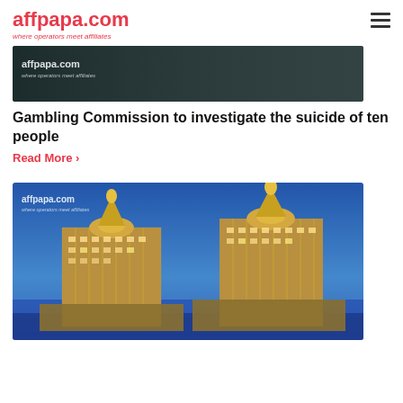affpapa.com — where operators meet affiliates
[Figure (photo): Dark themed banner image with affpapa.com watermark logo overlay]
Gambling Commission to investigate the suicide of ten people
Read More ›
[Figure (photo): Illuminated luxury casino resort buildings at dusk/night with affpapa.com watermark, resembling Macau casino towers against blue sky]